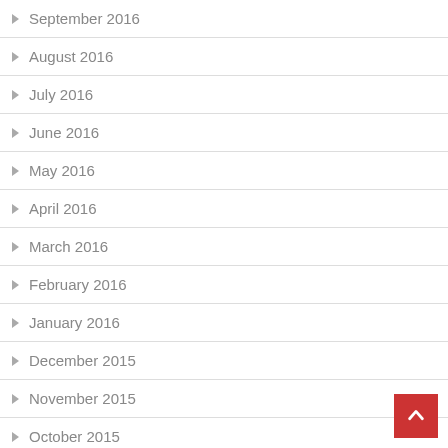September 2016
August 2016
July 2016
June 2016
May 2016
April 2016
March 2016
February 2016
January 2016
December 2015
November 2015
October 2015
September 2015
August 2015